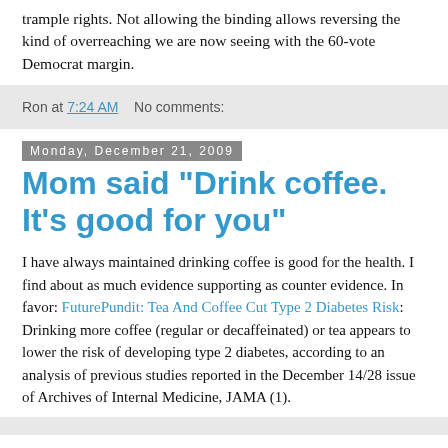trample rights. Not allowing the binding allows reversing the kind of overreaching we are now seeing with the 60-vote Democrat margin.
Ron at 7:24 AM   No comments:
Monday, December 21, 2009
Mom said "Drink coffee. It's good for you"
I have always maintained drinking coffee is good for the health. I find about as much evidence supporting as counter evidence. In favor: FuturePundit: Tea And Coffee Cut Type 2 Diabetes Risk: Drinking more coffee (regular or decaffeinated) or tea appears to lower the risk of developing type 2 diabetes, according to an analysis of previous studies reported in the December 14/28 issue of Archives of Internal Medicine, JAMA (1).